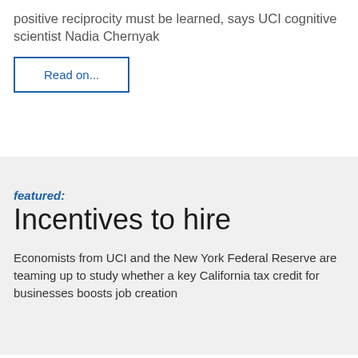positive reciprocity must be learned, says UCI cognitive scientist Nadia Chernyak
Read on...
featured: Incentives to hire
Economists from UCI and the New York Federal Reserve are teaming up to study whether a key California tax credit for businesses boosts job creation